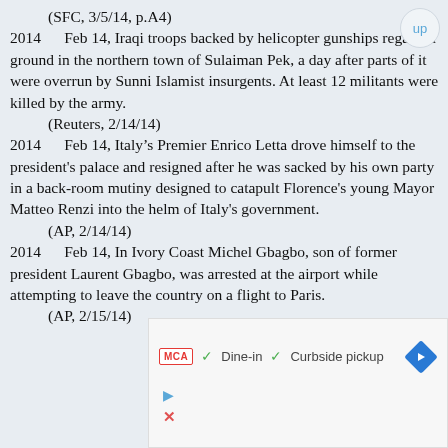(SFC, 3/5/14, p.A4)
2014       Feb 14, Iraqi troops backed by helicopter gunships regained ground in the northern town of Sulaiman Pek, a day after parts of it were overrun by Sunni Islamist insurgents. At least 12 militants were killed by the army.
(Reuters, 2/14/14)
2014       Feb 14, Italy’s Premier Enrico Letta drove himself to the president's palace and resigned after he was sacked by his own party in a back-room mutiny designed to catapult Florence's young Mayor Matteo Renzi into the helm of Italy's government.
(AP, 2/14/14)
2014       Feb 14, In Ivory Coast Michel Gbagbo, son of former president Laurent Gbagbo, was arrested at the airport while attempting to leave the country on a flight to Paris.
(AP, 2/15/14)
[Figure (other): Advertisement banner showing MCA logo, dine-in and curbside pickup options, navigation arrow diamond icon, play button, and close button]